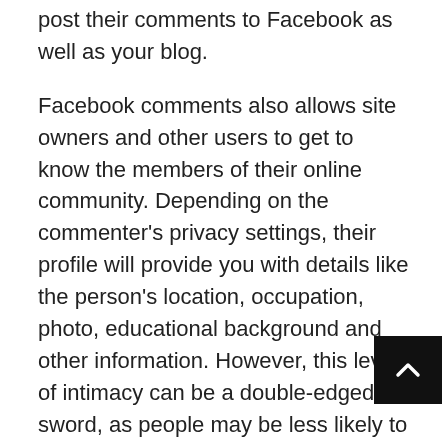post their comments to Facebook as well as your blog.
Facebook comments also allows site owners and other users to get to know the members of their online community. Depending on the commenter's privacy settings, their profile will provide you with details like the person's location, occupation, photo, educational background and other information. However, this level of intimacy can be a double-edged sword, as people may be less likely to comment on posts with controversial or highly personal subject matter if they know it will be linked to their social media profile.
To add Facebook Comments to your site, you